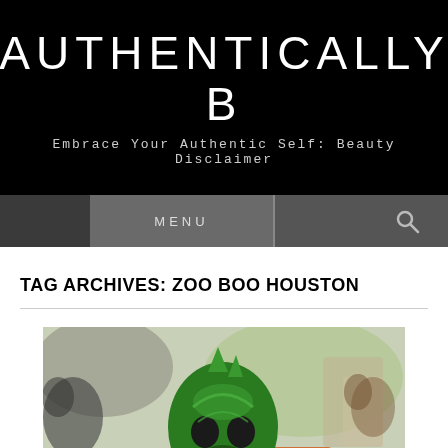AUTHENTICALLY B
Embrace Your Authentic Self: Beauty Disclaimer
TAG ARCHIVES: ZOO BOO HOUSTON
[Figure (photo): A person wearing a green dragon/alien Halloween costume mask/hood, photographed outdoors at what appears to be a zoo event with blurred crowd and trees in the background.]